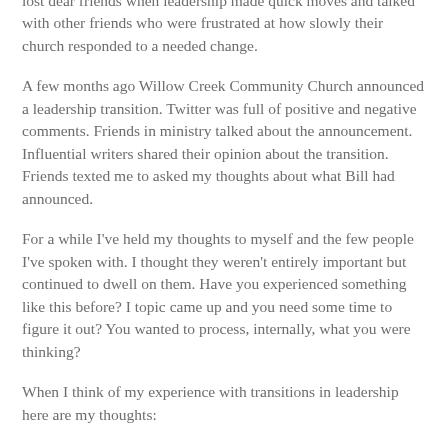lost dear friends when leadership made quick moves and talked with other friends who were frustrated at how slowly their church responded to a needed change.
A few months ago Willow Creek Community Church announced a leadership transition. Twitter was full of positive and negative comments. Friends in ministry talked about the announcement. Influential writers shared their opinion about the transition. Friends texted me to asked my thoughts about what Bill had announced.
For a while I've held my thoughts to myself and the few people I've spoken with. I thought they weren't entirely important but continued to dwell on them. Have you experienced something like this before? I topic came up and you need some time to figure it out? You wanted to process, internally, what you were thinking?
When I think of my experience with transitions in leadership here are my thoughts:
1) Internal leadership transitions seem to be better than